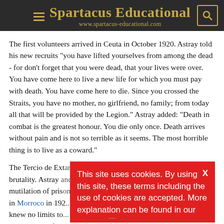Spartacus Educational www.spartacus-educational.com
The first volunteers arrived in Ceuta in October 1920. Astray told his new recruits "you have lifted yourselves from among the dead - for don't forget that you were dead, that your lives were over. You have come here to live a new life for which you must pay with death. You have come here to die. Since you crossed the Straits, you have no mother, no girlfriend, no family; from today all that will be provided by the Legion." Astray added: "Death in combat is the greatest honour. You die only once. Death arrives without pain and is not so terrible as it seems. The most horrible thing is to live as a coward."
The Tercio de Extranjeros quickly developed a reputation for brutality. Astray and Franco encouraged the killing and mutilation of prisoners. After the war in Morroco in 192... knew no limits to... remained but fires... children."
This site uses cookies. By using this site, these terms including the use of cookies are accepted. More explanation can be found in our